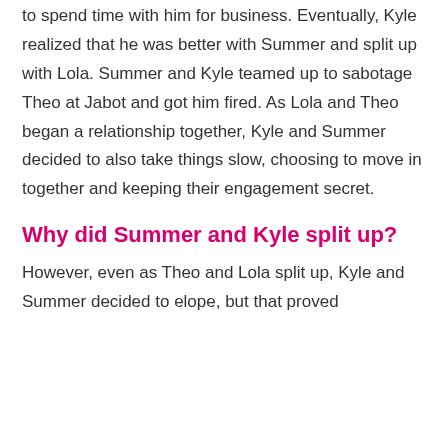to spend time with him for business. Eventually, Kyle realized that he was better with Summer and split up with Lola. Summer and Kyle teamed up to sabotage Theo at Jabot and got him fired. As Lola and Theo began a relationship together, Kyle and Summer decided to also take things slow, choosing to move in together and keeping their engagement secret.
Why did Summer and Kyle split up?
However, even as Theo and Lola split up, Kyle and Summer decided to elope, but that proved